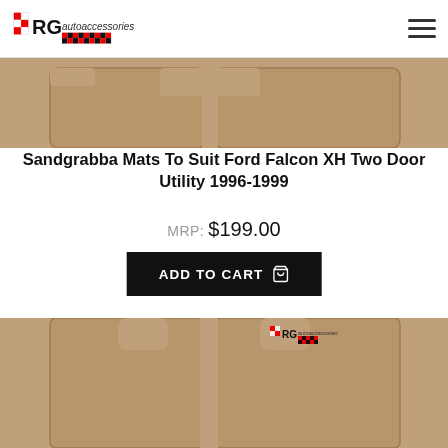RG autoaccessories
[Figure (photo): Top portion of tan/beige Sandgrabba car floor mats for Ford Falcon XH, showing the top edge of two mats side by side]
Sandgrabba Mats To Suit Ford Falcon XH Two Door Utility 1996-1999
MRP: $199.00
ADD TO CART
[Figure (photo): Bottom portion of tan/beige Sandgrabba car floor mats with RG autoaccessories logo visible on the mat surface]